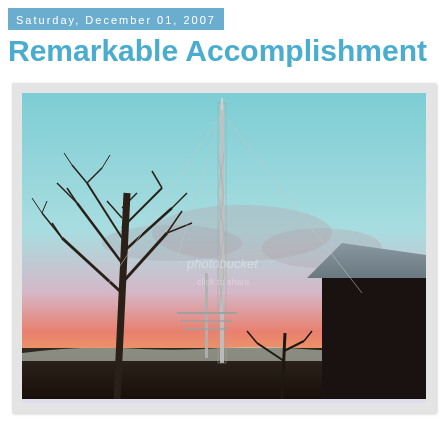Saturday, December 01, 2007
Remarkable Accomplishment
[Figure (photo): A tall radio/antenna tower at sunset with bare winter trees on the left, a building with a metal roof on the right, and a colorful pink/teal twilight sky. A photobucket watermark is visible in the center.]